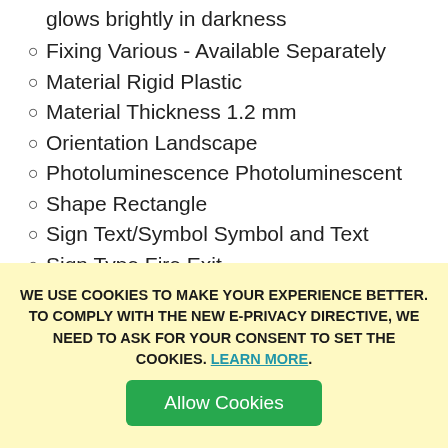Finish Film applied white in daylight but glows brightly in darkness
Fixing Various - Available Separately
Material Rigid Plastic
Material Thickness 1.2 mm
Orientation Landscape
Photoluminescence Photoluminescent
Shape Rectangle
Sign Text/Symbol Symbol and Text
Sign Type Fire Exit
Size 150 x 450 mm
Illumination - 6hrs +
Recharge time - 5 minutes in normal lighting
WE USE COOKIES TO MAKE YOUR EXPERIENCE BETTER. TO COMPLY WITH THE NEW E-PRIVACY DIRECTIVE, WE NEED TO ASK FOR YOUR CONSENT TO SET THE COOKIES. LEARN MORE.
Allow Cookies